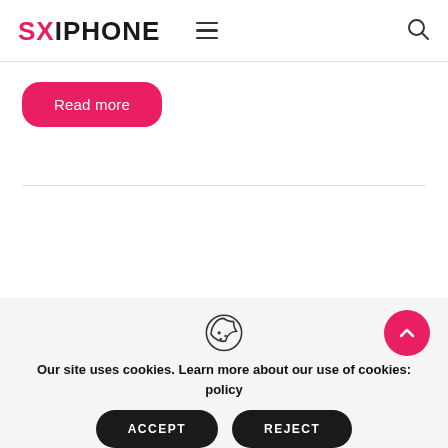SXIPHONE
Read more
[Figure (infographic): Cookie consent banner with cookie icon, accept and reject buttons, and back-to-top arrow button]
Our site uses cookies. Learn more about our use of cookies: cookie policy
ACCEPT
REJECT